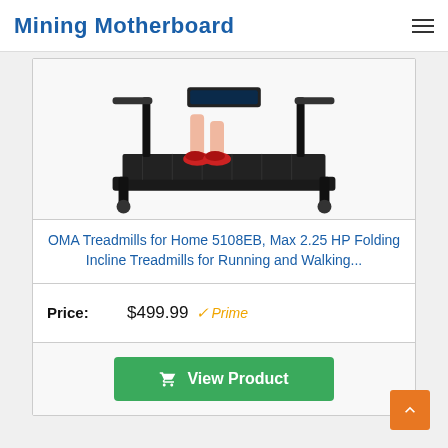Mining Motherboard
[Figure (photo): A person walking on a black folding treadmill — OMA 5108EB — shown from legs down, wearing red sneakers, on a dark treadmill belt.]
OMA Treadmills for Home 5108EB, Max 2.25 HP Folding Incline Treadmills for Running and Walking...
Price: $499.99 ✓Prime
View Product